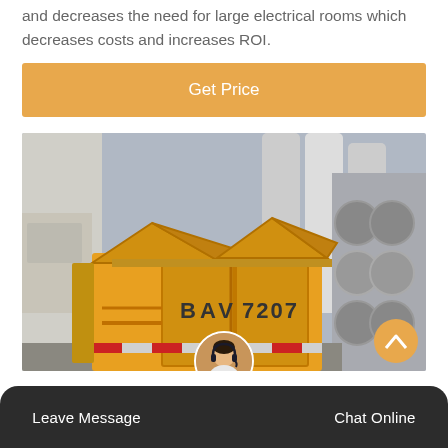and decreases the need for large electrical rooms which decreases costs and increases ROI.
Get Price
[Figure (photo): Yellow industrial mobile electrical substation unit (BAV 7207) with open roof panels, parked near industrial facility with large equipment and cylinders in the background.]
Leave Message   Chat Online